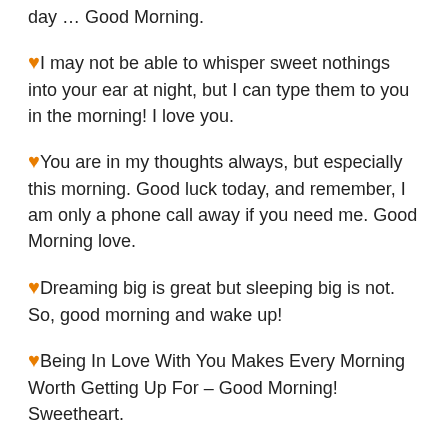day … Good Morning.
🧡I may not be able to whisper sweet nothings into your ear at night, but I can type them to you in the morning! I love you.
🧡You are in my thoughts always, but especially this morning. Good luck today, and remember, I am only a phone call away if you need me. Good Morning love.
🧡Dreaming big is great but sleeping big is not. So, good morning and wake up!
🧡Being In Love With You Makes Every Morning Worth Getting Up For – Good Morning! Sweetheart.
🧡Good Morning Baby. Have An Amazing Day. I Love U.
🧡As the coldness of the night gives its place to the warmth